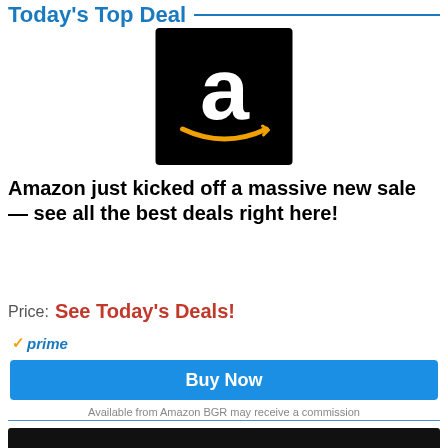Today's Top Deal
[Figure (logo): Amazon logo: white lowercase 'a' on black background with orange smile/arrow curve beneath]
Amazon just kicked off a massive new sale — see all the best deals right here!
Price: See Today's Deals!
✓prime
Buy Now
Available from Amazon BGR may receive a commission
HDMI ARC and eARC: The one-cable s...